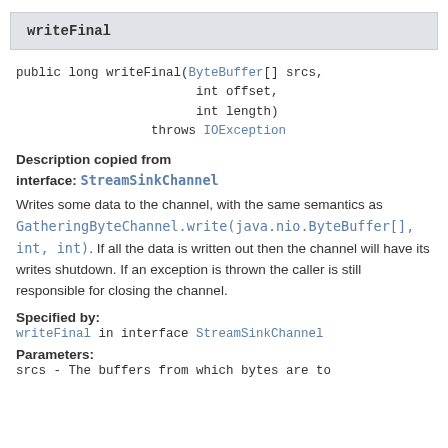writeFinal
public long writeFinal(ByteBuffer[] srcs,
                        int offset,
                        int length)
                throws IOException
Description copied from interface: StreamSinkChannel
Writes some data to the channel, with the same semantics as GatheringByteChannel.write(java.nio.ByteBuffer[], int, int). If all the data is written out then the channel will have its writes shutdown. If an exception is thrown the caller is still responsible for closing the channel.
Specified by:
writeFinal in interface StreamSinkChannel
Parameters:
srcs - The buffers from which bytes are to